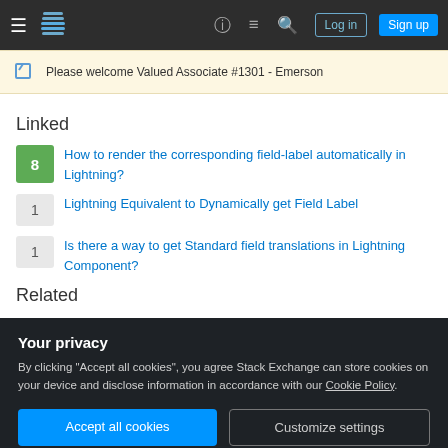Stack Exchange navigation bar with Log in and Sign up buttons
Please welcome Valued Associate #1301 - Emerson
Linked
How to render the corresponding field-label automatically in Lightning?
Lightning Equivalent to Dynamically get Field Label
Is there a way to get Standard field translations in Lightning Component?
Related
Your privacy
By clicking "Accept all cookies", you agree Stack Exchange can store cookies on your device and disclose information in accordance with our Cookie Policy.
What is the most efficient way to get object field labels in